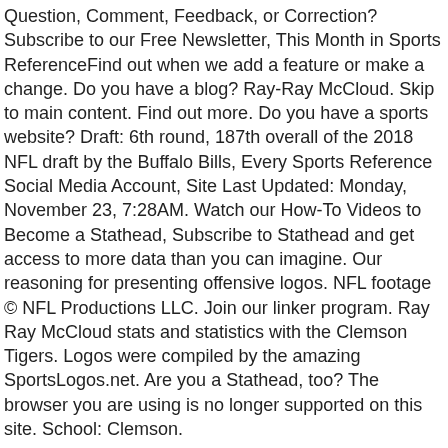Question, Comment, Feedback, or Correction? Subscribe to our Free Newsletter, This Month in Sports ReferenceFind out when we add a feature or make a change. Do you have a blog? Ray-Ray McCloud. Skip to main content. Find out more. Do you have a sports website? Draft: 6th round, 187th overall of the 2018 NFL draft by the Buffalo Bills, Every Sports Reference Social Media Account, Site Last Updated: Monday, November 23, 7:28AM. Watch our How-To Videos to Become a Stathead, Subscribe to Stathead and get access to more data than you can imagine. Our reasoning for presenting offensive logos. NFL footage © NFL Productions LLC. Join our linker program. Ray Ray McCloud stats and statistics with the Clemson Tigers. Logos were compiled by the amazing SportsLogos.net. Are you a Stathead, too? The browser you are using is no longer supported on this site. School: Clemson.
As a matter of policy, Sports Reference only reports the results of games as played on the field. Copyright © 2000-2020 Sports Reference LLC. Our reasoning for presenting offensive logos.